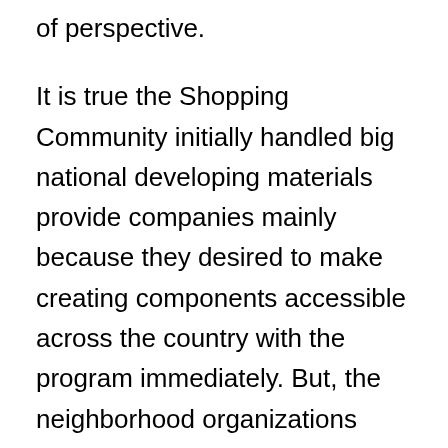of perspective.
It is true the Shopping Community initially handled big national developing materials provide companies mainly because they desired to make creating components accessible across the country with the program immediately. But, the neighborhood organizations were actually kept for the membership to sign up. Quite simply, you may be the one to “produce a killing because no neighborhood building materials suppliers are in the Community yet!”